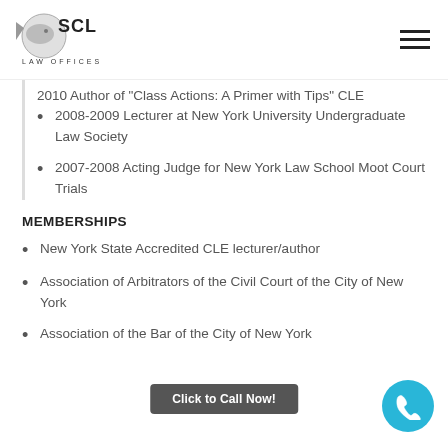[Figure (logo): SCL Law Offices logo with stylized fish/shark and text 'SCL LAW OFFICES']
2010 Author of 'Class Actions: A Primer with Tips' CLE
2008-2009 Lecturer at New York University Undergraduate Law Society
2007-2008 Acting Judge for New York Law School Moot Court Trials
MEMBERSHIPS
New York State Accredited CLE lecturer/author
Association of Arbitrators of the Civil Court of the City of New York
Association of the Bar of the City of New York